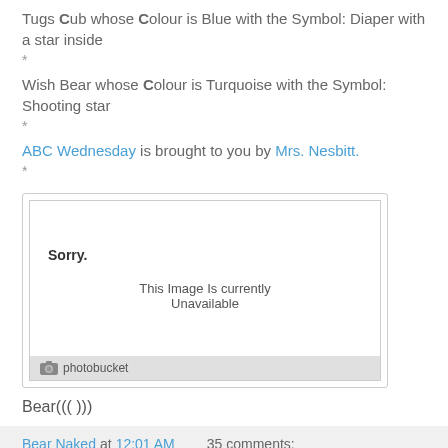Tugs Cub whose Colour is Blue with the Symbol: Diaper with a star inside
*
Wish Bear whose Colour is Turquoise with the Symbol: Shooting star
*
ABC Wednesday is brought to you by Mrs. Nesbitt.
*
[Figure (screenshot): Photobucket placeholder image showing 'Sorry. This Image Is currently Unavailable' with Photobucket logo bar at bottom]
Bear((( )))
Bear Naked at 12:01 AM   35 comments:
Tuesday, August 5, 2008
Prohibition